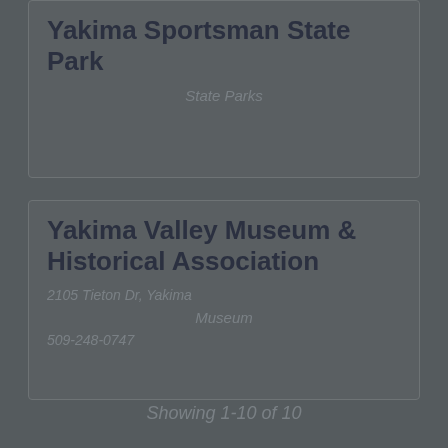Yakima Sportsman State Park
State Parks
Yakima Valley Museum & Historical Association
2105 Tieton Dr, Yakima
Museum
509-248-0747
Showing  1-10 of 10